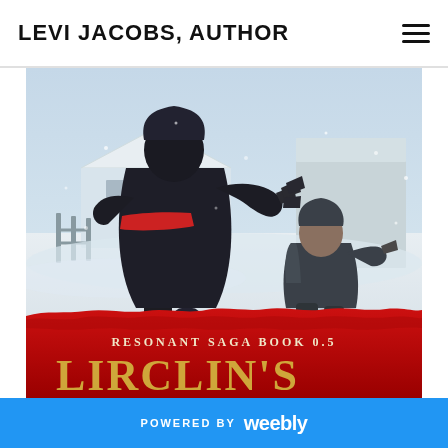LEVI JACOBS, AUTHOR
[Figure (illustration): Book cover art for 'Resonant Saga Book 0.5' showing a dark-cloaked figure in the foreground with clawed hands raised, facing a second hunched figure in a snowy winter village scene. The bottom of the cover shows a red torn-paper design with gold/white text reading 'RESONANT SAGA BOOK 0.5' and partial title letters below.]
POWERED BY weebly